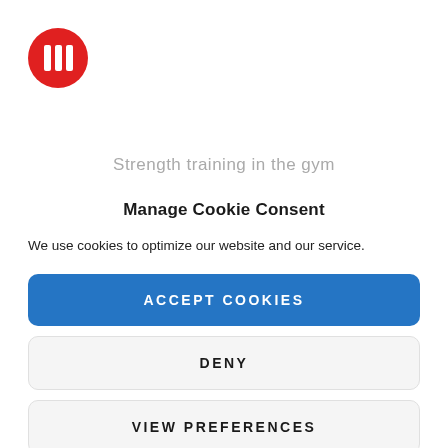[Figure (logo): Red circle logo with three white vertical bars (like a pause/menu icon)]
Strength training in the gym
Manage Cookie Consent
We use cookies to optimize our website and our service.
ACCEPT COOKIES
DENY
VIEW PREFERENCES